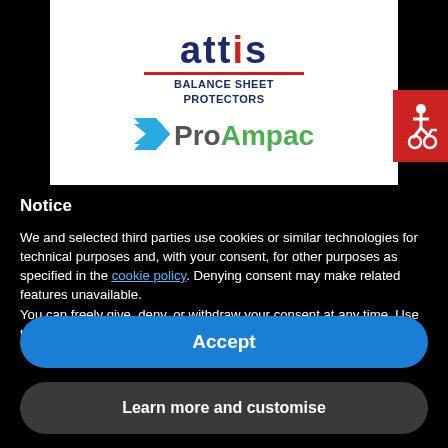[Figure (logo): Attis Balance Sheet Protectors logo above ProAmpac logo on white background]
[Figure (illustration): Red accessibility icon button in top right corner]
Notice
We and selected third parties use cookies or similar technologies for technical purposes and, with your consent, for other purposes as specified in the cookie policy. Denying consent may make related features unavailable.
You can freely give, deny, or withdraw your consent at any time. Use the “Accept” button to consent to the use of such technologies.
Accept
Learn more and customise